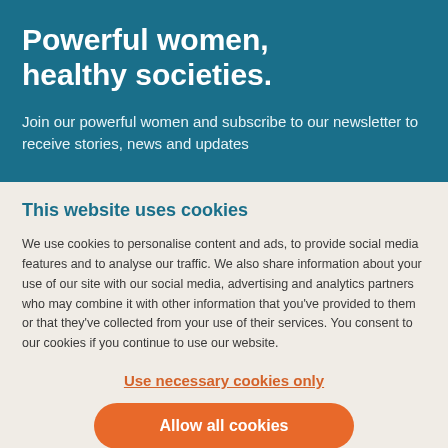Powerful women, healthy societies.
Join our powerful women and subscribe to our newsletter to receive stories, news and updates
This website uses cookies
We use cookies to personalise content and ads, to provide social media features and to analyse our traffic. We also share information about your use of our site with our social media, advertising and analytics partners who may combine it with other information that you've provided to them or that they've collected from your use of their services. You consent to our cookies if you continue to use our website.
Use necessary cookies only
Allow all cookies